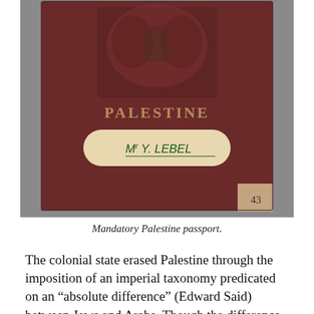[Figure (photo): Photograph of a dark reddish-brown passport cover with embossed coat of arms at top and the word 'PALESTINE' printed on it. A cream-colored label affixed to the passport reads 'Mr Y. LEBEL' in handwritten green ink. A small paper corner at bottom right shows the number 43.]
Mandatory Palestine passport.
The colonial state erased Palestine through the imposition of an imperial taxonomy predicated on an “absolute difference” (Edward Said) between Jews and Arabs. Though the difference